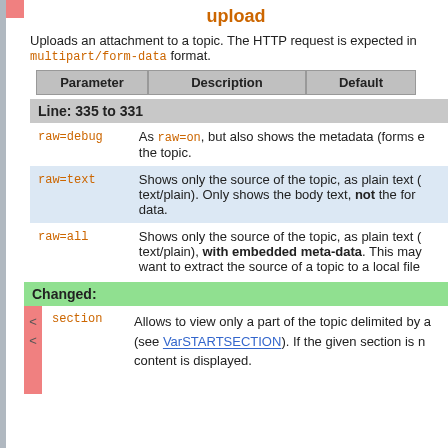upload
Uploads an attachment to a topic. The HTTP request is expected in multipart/form-data format.
| Parameter | Description | Default |
| --- | --- | --- |
| raw=debug | As raw=on, but also shows the metadata (forms e... the topic. |  |
| raw=text | Shows only the source of the topic, as plain text (content type: text/plain). Only shows the body text, not the form data. |  |
| raw=all | Shows only the source of the topic, as plain text (content type: text/plain), with embedded meta-data. This may... want to extract the source of a topic to a local file... |  |
Line: 335 to 331
Changed:
|  |  |
| --- | --- |
| section | Allows to view only a part of the topic delimited by a ... (see VarSTARTSECTION). If the given section is n... content is displayed. |